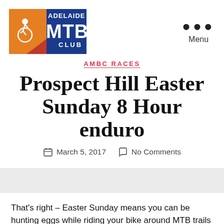[Figure (logo): Adelaide MTB Club logo — orange/red and blue rectangular logo with cyclist silhouette and bold MTB text]
Menu
AMBC RACES
Prospect Hill Easter Sunday 8 Hour enduro
March 5, 2017  No Comments
That's right – Easter Sunday means you can be hunting eggs while riding your bike around MTB trails for 8...